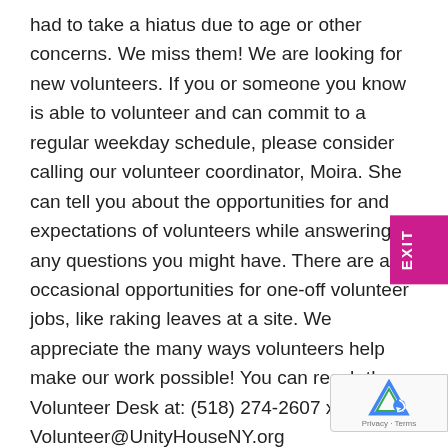had to take a hiatus due to age or other concerns. We miss them! We are looking for new volunteers. If you or someone you know is able to volunteer and can commit to a regular weekday schedule, please consider calling our volunteer coordinator, Moira. She can tell you about the opportunities for and expectations of volunteers while answering any questions you might have. There are also occasional opportunities for one-off volunteer jobs, like raking leaves at a site. We appreciate the many ways volunteers help make our work possible! You can reach the Volunteer Desk at: (518) 274-2607 x4135 or Volunteer@UnityHouseNY.org
Consider Seasonal Opportunities: with winter coming, we are collecting new and gently used winter coats, new toys and gifts for children, and household items like microwave safe dishware for those in our housing programs. If you have an item you would like to donate and